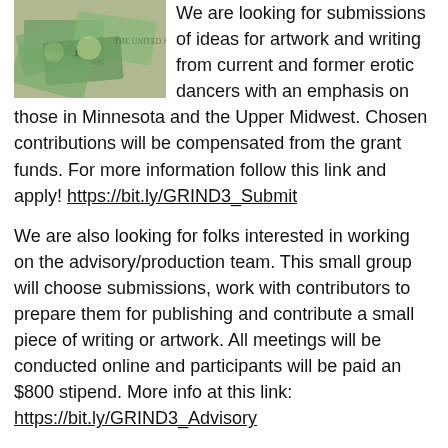[Figure (photo): Photo of scattered US dollar bills]
We are looking for submissions of ideas for artwork and writing from current and former erotic dancers with an emphasis on those in Minnesota and the Upper Midwest. Chosen contributions will be compensated from the grant funds. For more information follow this link and apply! https://bit.ly/GRIND3_Submit
We are also looking for folks interested in working on the advisory/production team. This small group will choose submissions, work with contributors to prepare them for publishing and contribute a small piece of writing or artwork. All meetings will be conducted online and participants will be paid an $800 stipend. More info at this link: https://bit.ly/GRIND3_Advisory
Each link contains more information, but if you have any questions, please feel free to contact me via email. And share the links with your friends and dancer networks!